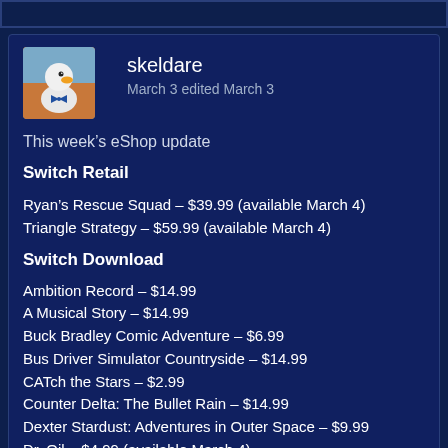skeldare
March 3 edited March 3
This week's eShop update
Switch Retail
Ryan's Rescue Squad – $39.99 (available March 4)
Triangle Strategy – $59.99 (available March 4)
Switch Download
Ambition Record – $14.99
A Musical Story – $14.99
Buck Bradley Comic Adventure – $6.99
Bus Driver Simulator Countryside – $14.99
CATch the Stars – $2.99
Counter Delta: The Bullet Rain – $14.99
Dexter Stardust: Adventures in Outer Space – $9.99
Dr. Oil – $4.99 (available March 4)
ELO 1100 Chess – $3.99